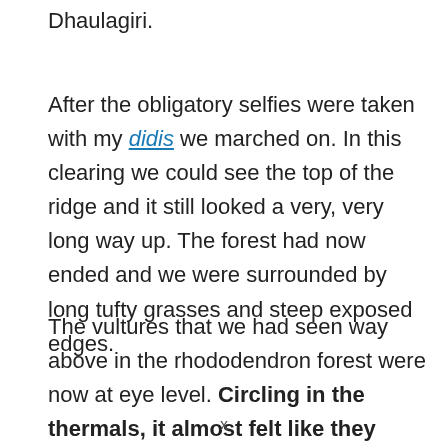Dhaulagiri.
After the obligatory selfies were taken with my didis we marched on. In this clearing we could see the top of the ridge and it still looked a very, very long way up. The forest had now ended and we were surrounded by long tufty grasses and steep exposed edges.
The vultures that we had seen way above in the rhododendron forest were now at eye level. Circling in the thermals, it almost felt like they were waiting for us to collapse. But we continued on up, gaining a little heart every time we saw a blue and white flag.
x